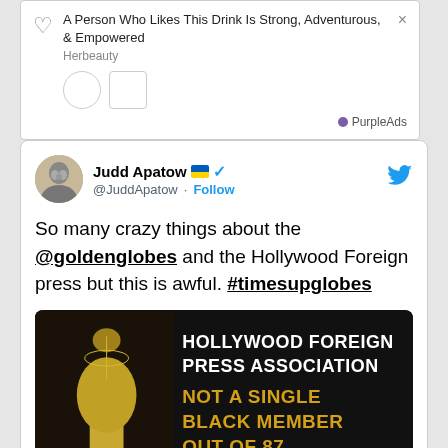[Figure (screenshot): Advertisement banner: heart icon, text 'A Person Who Likes This Drink Is Strong, Adventurous, & Empowered', source 'Herbeauty', PurpleAds branding, close button]
[Figure (screenshot): Tweet by Judd Apatow (@JuddApatow) with Ukrainian flag and verified badge. Text: 'So many crazy things about the @goldenglobes and the Hollywood Foreign press but this is awful. #timesupglobes'. Embedded image showing Golden Globe trophy on dark background with text: HOLLYWOOD FOREIGN PRESS ASSOCIATION / NOT A SINGLE BLACK MEMBER OUT OF 87, with TIMESUPGLOBES and TIMES branding.]